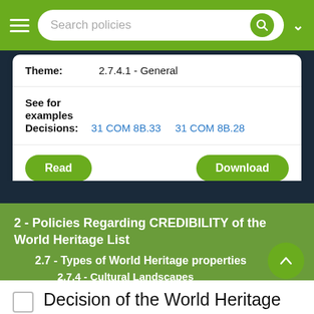Search policies
Theme: 2.7.4.1 - General
See for examples Decisions: 31 COM 8B.33  31 COM 8B.28
Read
Download
2 - Policies Regarding CREDIBILITY of the World Heritage List
2.7 - Types of World Heritage properties
2.7.4 - Cultural Landscapes
Decision of the World Heritage Committee 29 COM 5D